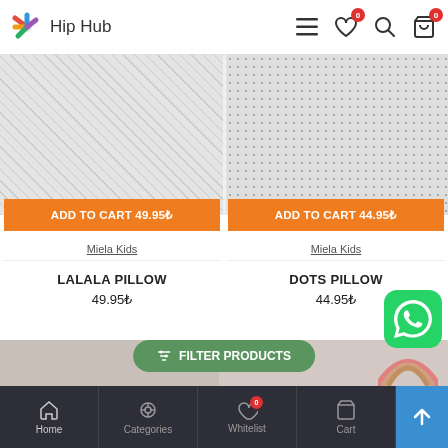Hip Hub
[Figure (screenshot): Two product images cropped at top: left shows lalala pillow with scattered pattern, right shows dots pillow with dot pattern]
ADD TO CART 49.95₺
ADD TO CART 44.95₺
Miela Kids
Miela Kids
LALALA PILLOW
DOTS PILLOW
49.95₺
44.95₺
[Figure (screenshot): WhatsApp icon button (green rounded square with white phone receiver icon)]
FILTER PRODUCTS
Home  Categories  Whitelist  Cart